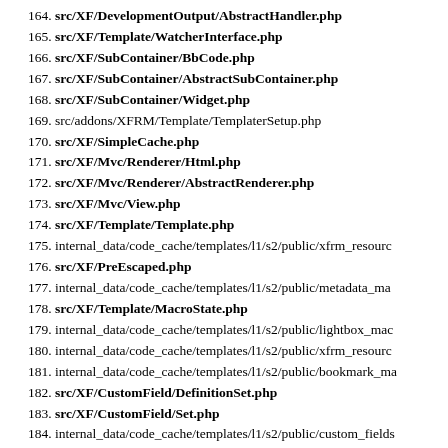164. src/XF/DevelopmentOutput/AbstractHandler.php
165. src/XF/Template/WatcherInterface.php
166. src/XF/SubContainer/BbCode.php
167. src/XF/SubContainer/AbstractSubContainer.php
168. src/XF/SubContainer/Widget.php
169. src/addons/XFRM/Template/TemplaterSetup.php
170. src/XF/SimpleCache.php
171. src/XF/Mvc/Renderer/Html.php
172. src/XF/Mvc/Renderer/AbstractRenderer.php
173. src/XF/Mvc/View.php
174. src/XF/Template/Template.php
175. internal_data/code_cache/templates/l1/s2/public/xfrm_resourc…
176. src/XF/PreEscaped.php
177. internal_data/code_cache/templates/l1/s2/public/metadata_ma…
178. src/XF/Template/MacroState.php
179. internal_data/code_cache/templates/l1/s2/public/lightbox_mac…
180. internal_data/code_cache/templates/l1/s2/public/xfrm_resourc…
181. internal_data/code_cache/templates/l1/s2/public/bookmark_ma…
182. src/XF/CustomField/DefinitionSet.php
183. src/XF/CustomField/Set.php
184. internal_data/code_cache/templates/l1/s2/public/custom_fields…
185. src/XF/BbCode/Parser.php
186. src/XF/BbCode/RuleSet.php
187. src/addons/SV/SignupAbuseBlocking/XF/BbCode/RuleSet.ph…
188. src/XF/BbCode/Renderer/Html.php